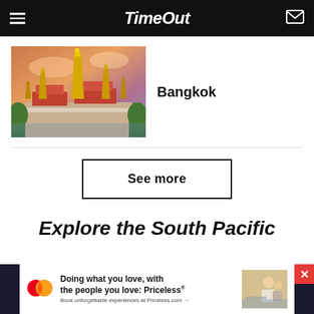Time Out
[Figure (photo): Bangkok temple complex with golden spires and colorful rooftops against a dramatic sunset sky]
Bangkok
See more
Explore the South Pacific
[Figure (infographic): Mastercard advertisement: Doing what you love, with the people you love: Priceless. Book unforgettable experiences at Priceless.com]